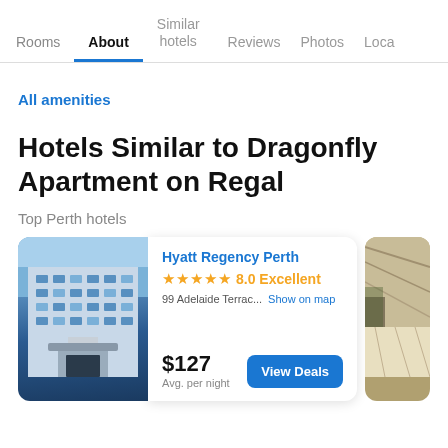Rooms  About  Similar hotels  Reviews  Photos  Loca...
All amenities
Hotels Similar to Dragonfly Apartment on Regal
Top Perth hotels
[Figure (photo): Photo of Hyatt Regency Perth hotel exterior — large modern building with blue sky]
Hyatt Regency Perth
★★★★★ 8.0 Excellent
99 Adelaide Terrac... Show on map
$127
Avg. per night
[Figure (photo): Partially visible photo of another hotel interior with modern architecture]